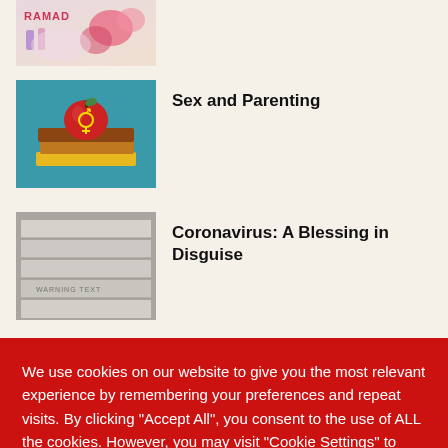[Figure (photo): Partial top image, Ramadan themed with flowers and colorful decorations]
[Figure (photo): An apple with gender symbols on top of a stack of books on a teal background]
Sex and Parenting
[Figure (photo): Close-up of cigarettes in a pack, blurred warning text visible]
Coronavirus: A Blessing in Disguise
We use cookies on our website to give you the most relevant experience by remembering your preferences and repeat visits. By clicking "Accept All", you consent to the use of ALL the cookies. However, you may visit "Cookie Settings" to provide a controlled consent.
Cookie Settings
Accept All